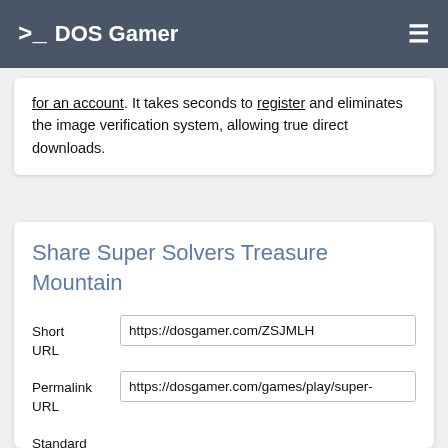>_ DOS Gamer
for an account. It takes seconds to register and eliminates the image verification system, allowing true direct downloads.
Share Super Solvers Treasure Mountain
Short URL: https://dosgamer.com/ZSJMLH
Permalink URL: https://dosgamer.com/games/play/super-
Standard HREF Link Code: <a href='https://dosgamer.com/games/pla
Super
[Figure (other): QR code for Super Solvers Treasure Mountain]